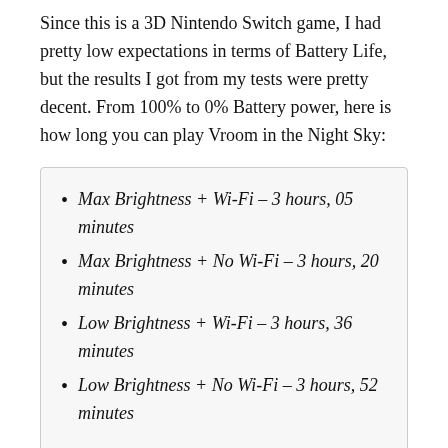Since this is a 3D Nintendo Switch game, I had pretty low expectations in terms of Battery Life, but the results I got from my tests were pretty decent. From 100% to 0% Battery power, here is how long you can play Vroom in the Night Sky:
Max Brightness + Wi-Fi – 3 hours, 05 minutes
Max Brightness + No Wi-Fi – 3 hours, 20 minutes
Low Brightness + Wi-Fi – 3 hours, 36 minutes
Low Brightness + No Wi-Fi – 3 hours, 52 minutes
This isn't bad at all, though it stays between 3 and 4